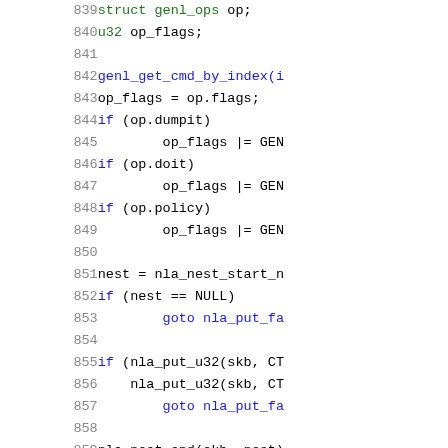Code listing lines 839-859 showing C kernel code with struct genl_ops, u32, genl_get_cmd_by_index, op_flags assignments, if statements, nla_nest_start, goto nla_put_failure, nla_put_u32, nla_nest_end calls.